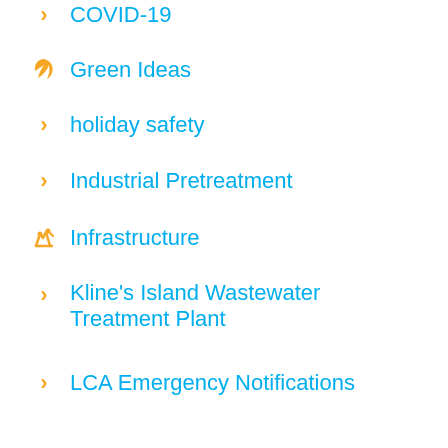COVID-19
Green Ideas
holiday safety
Industrial Pretreatment
Infrastructure
Kline's Island Wastewater Treatment Plant
LCA Emergency Notifications
Little Lehigh Creek Updates
News & Updates
News & Updates
Safety